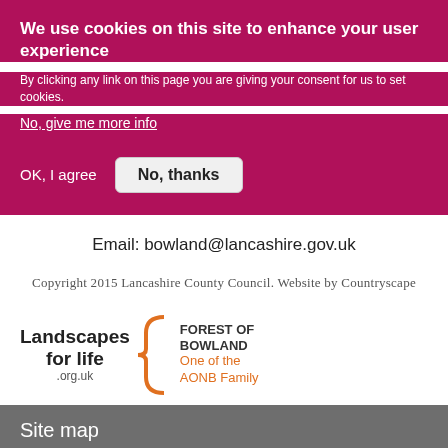We use cookies on this site to enhance your user experience
By clicking any link on this page you are giving your consent for us to set cookies.
No, give me more info
OK, I agree
No, thanks
Email: bowland@lancashire.gov.uk
Copyright 2015 Lancashire County Council. Website by Countryscape
[Figure (logo): Landscapes for life .org.uk logo with Forest of Bowland One of the AONB Family text and curly brace graphic in orange]
Site map
Discover
What is an AONB
Landscape